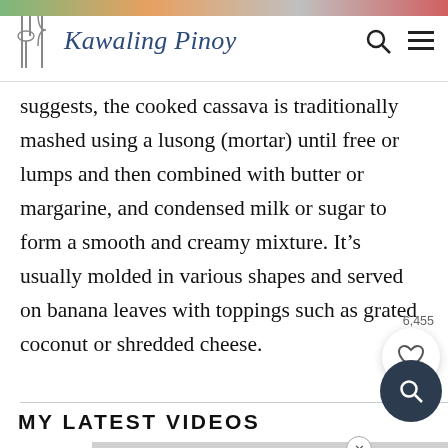Kawaling Pinoy
suggests, the cooked cassava is traditionally mashed using a lusong (mortar) until free or lumps and then combined with butter or margarine, and condensed milk or sugar to form a smooth and creamy mixture. It’s usually molded in various shapes and served on banana leaves with toppings such as grated coconut or shredded cheese.
MY LATEST VIDEOS
[Figure (screenshot): Video thumbnail placeholder, gray rectangle]